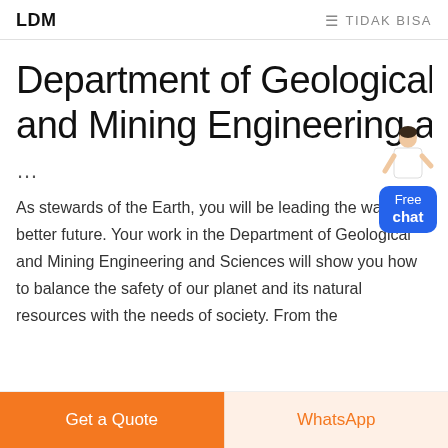LDM   ≡ TIDAK BISA
Department of Geological and Mining Engineering an…
...
As stewards of the Earth, you will be leading the way to a better future. Your work in the Department of Geological and Mining Engineering and Sciences will show you how to balance the safety of our planet and its natural resources with the needs of society. From the
[Figure (illustration): Small illustration of a person in white coat next to a blue 'Free chat' button widget]
Get a Quote   WhatsApp